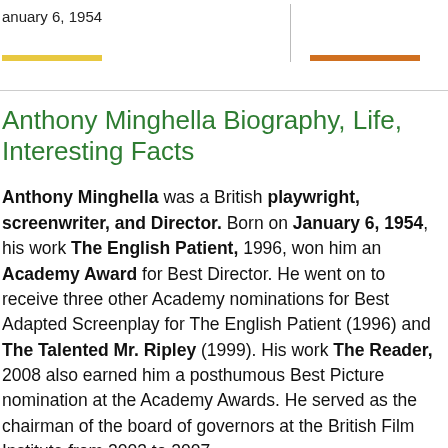January 6, 1954
Anthony Minghella Biography, Life, Interesting Facts
Anthony Minghella was a British playwright, screenwriter, and Director. Born on January 6, 1954, his work The English Patient, 1996, won him an Academy Award for Best Director. He went on to receive three other Academy nominations for Best Adapted Screenplay for The English Patient (1996) and The Talented Mr. Ripley (1999). His work The Reader, 2008 also earned him a posthumous Best Picture nomination at the Academy Awards. He served as the chairman of the board of governors at the British Film Institute from 2003 to 2007.